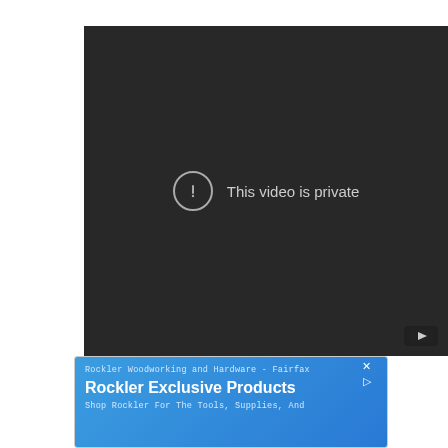[Figure (screenshot): Embedded video player showing 'This video is private' message on dark background with YouTube logo in bottom-right corner]
[Figure (screenshot): Advertisement banner for Rockler Woodworking and Hardware - Fairfax, with blue background showing 'Rockler Exclusive Products' headline and body text 'Shop Rockler For The Tools, Supplies, And']